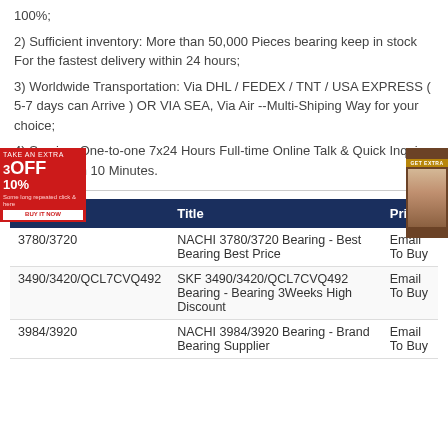100%;
2) Sufficient inventory: More than 50,000 Pieces bearing keep in stock For the fastest delivery within 24 hours;
3) Worldwide Transportation: Via DHL / FEDEX / TNT / USA EXPRESS ( 5-7 days can Arrive ) OR VIA SEA, Via Air --Multi-Shiping Way for your choice;
4) Service: One-to-one 7x24 Hours Full-time Online Talk & Quick Inquiry Reply Within 10 Minutes.
| Model | Title | Price |
| --- | --- | --- |
| 3780/3720 | NACHI 3780/3720 Bearing - Best Bearing Best Price | Email To Buy |
| 3490/3420/QCL7CVQ492 | SKF 3490/3420/QCL7CVQ492 Bearing - Bearing 3Weeks High Discount | Email To Buy |
| 3984/3920 | NACHI 3984/3920 Bearing - Brand Bearing Supplier | Email To Buy |